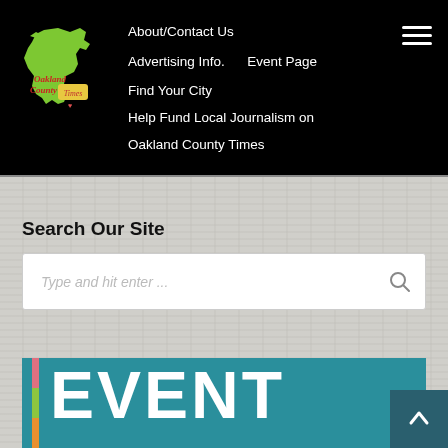[Figure (logo): Oakland County Times logo with green Michigan state silhouette and red cursive text]
About/Contact Us    Advertising Info.    Event Page    Find Your City    Help Fund Local Journalism on Oakland County Times
Search Our Site
Type and hit enter ...
[Figure (other): EVENT banner with teal background and colorful vertical bar on left side]